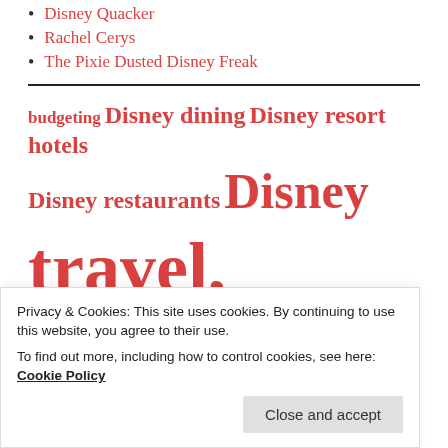Disney Quacker
Rachel Cerys
The Pixie Dusted Disney Freak
budgeting Disney dining Disney resort hotels Disney restaurants Disney travel, budget travel, saving money Disney Travel Tips Disney vacation
Privacy & Cookies: This site uses cookies. By continuing to use this website, you agree to their use.
To find out more, including how to control cookies, see here: Cookie Policy